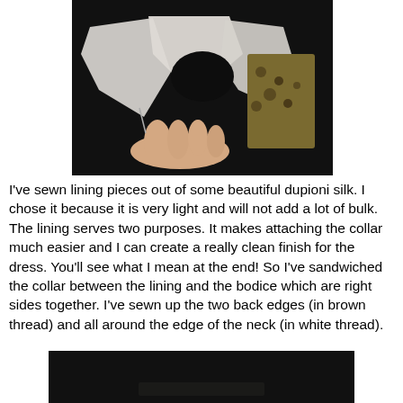[Figure (photo): Photo of fabric lining pieces made from dupioni silk held by a hand, showing white lining and floral patterned fabric pieces against a dark background.]
I've sewn lining pieces out of some beautiful dupioni silk. I chose it because it is very light and will not add a lot of bulk. The lining serves two purposes. It makes attaching the collar much easier and I can create a really clean finish for the dress. You'll see what I mean at the end! So I've sandwiched the collar between the lining and the bodice which are right sides together. I've sewn up the two back edges (in brown thread) and all around the edge of the neck (in white thread).
[Figure (photo): Partial photo at bottom of page showing dark fabric, beginning of another sewing step image.]